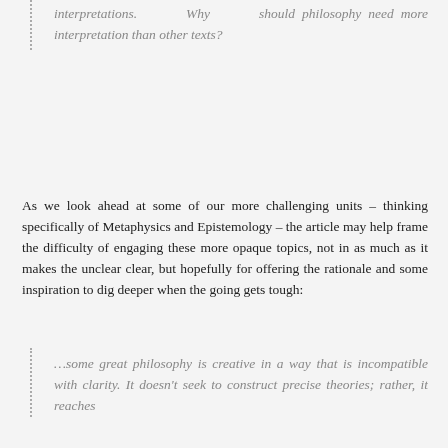interpretations. Why should philosophy need more interpretation than other texts?
As we look ahead at some of our more challenging units – thinking specifically of Metaphysics and Epistemology – the article may help frame the difficulty of engaging these more opaque topics, not in as much as it makes the unclear clear, but hopefully for offering the rationale and some inspiration to dig deeper when the going gets tough:
…some great philosophy is creative in a way that is incompatible with clarity. It doesn't seek to construct precise theories; rather, it reaches